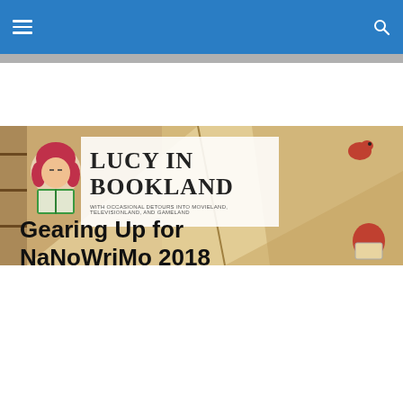[Figure (illustration): Lucy in Bookland website banner with cartoon girl reading a book, book tent illustration background, and site title 'LUCY IN BOOKLAND' with subtitle 'WITH OCCASIONAL DETOURS INTO MOVIELAND, TELEVISIONLAND, AND GAMELAND']
Gearing Up for NaNoWriMo 2018
[Figure (illustration): NaNoWriMo promotional image with orange border. Large brown serif text reads 'NaNoWriMo' and below in italic orange text 'Gearing Up for 2018']
Follow